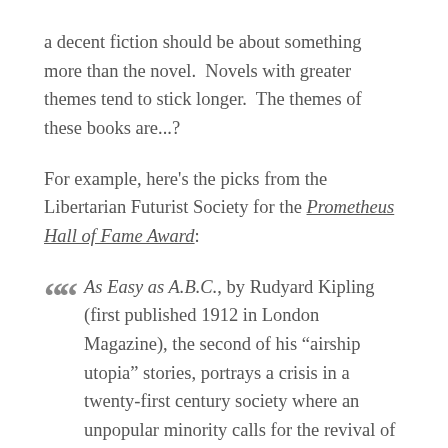a decent fiction should be about something more than the novel.  Novels with greater themes tend to stick longer.  The themes of these books are...?
For example, here's the picks from the Libertarian Futurist Society for the Prometheus Hall of Fame Award:
As Easy as A.B.C., by Rudyard Kipling (first published 1912 in London Magazine), the second of his "airship utopia" stories, portrays a crisis in a twenty-first century society where an unpopular minority calls for the revival of democracy, and a largely